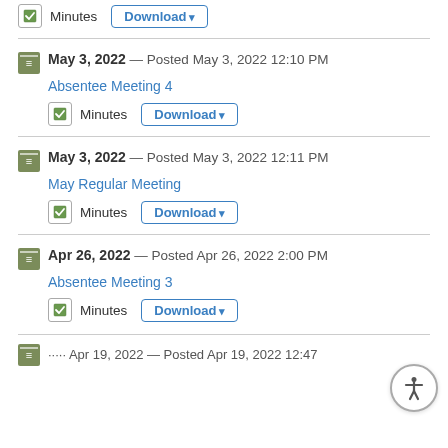Minutes  Download
May 3, 2022 — Posted May 3, 2022 12:10 PM
Absentee Meeting 4
Minutes  Download
May 3, 2022 — Posted May 3, 2022 12:11 PM
May Regular Meeting
Minutes  Download
Apr 26, 2022 — Posted Apr 26, 2022 2:00 PM
Absentee Meeting 3
Minutes  Download
Apr 19, 2022 — Posted Apr 19, 2022 12:47...